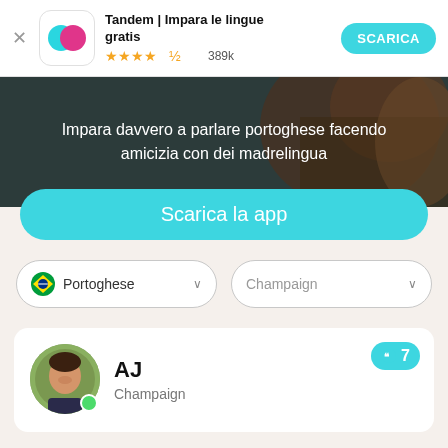Tandem | Impara le lingue gratis — ★★★★½ 389k — SCARICA
[Figure (screenshot): Hero banner with dark background showing person, text: Impara davvero a parlare portoghese facendo amicizia con dei madrelingua]
Scarica la app
🇧🇷 Portoghese ∨   Champaign ∨
AJ
Champaign